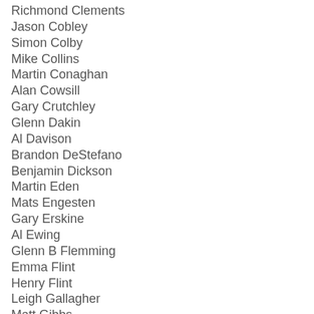Richmond Clements
Jason Cobley
Simon Colby
Mike Collins
Martin Conaghan
Alan Cowsill
Gary Crutchley
Glenn Dakin
Al Davison
Brandon DeStefano
Benjamin Dickson
Martin Eden
Mats Engesten
Gary Erskine
Al Ewing
Glenn B Flemming
Emma Flint
Henry Flint
Leigh Gallagher
Matt Gibbs
Gary Gilbert
Alan Grant
Peter Hogan